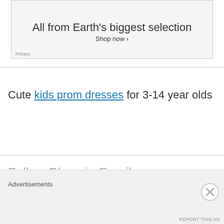[Figure (screenshot): Amazon advertisement banner showing 'All from Earth's biggest selection' with 'Shop now >' link and Privacy label]
Cute kids prom dresses for 3-14 year olds
Follow Blog via Email
Advertisements
[Figure (screenshot): Close/dismiss button (X circle icon) and REPORT THIS AD link at bottom right]